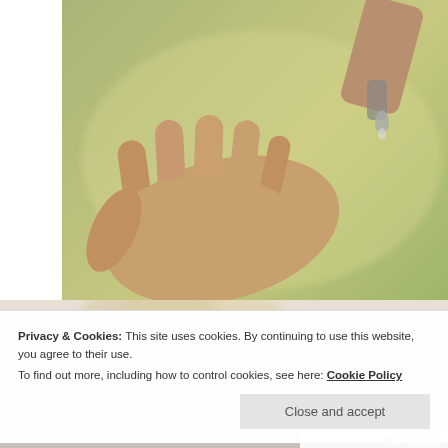[Figure (screenshot): Video player showing close-up of hands with one hand open palm-up and another hand above holding a small object, on a blurred green and skin-tone background. Video controls visible including previous, pause, and next buttons, and a progress bar at the bottom.]
Finding the Right Meds for Your PsO Skin
[Figure (photo): Blurred photo of a blonde woman looking down, soft beige/grey tones.]
Privacy & Cookies: This site uses cookies. By continuing to use this website, you agree to their use.
To find out more, including how to control cookies, see here: Cookie Policy
Close and accept